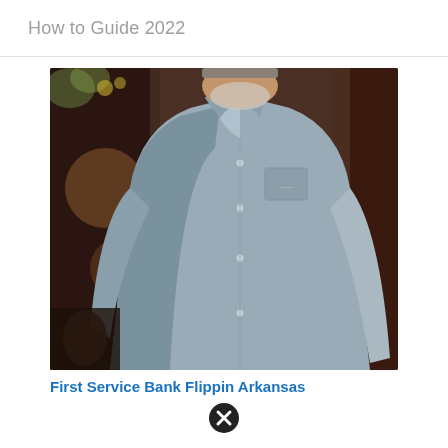How to Guide 2022
[Figure (photo): A man wearing a light grey button-down dress shirt with a small logo on the chest pocket, photographed from mid-torso up, with a blurred warm-toned background.]
First Service Bank Flippin Arkansas